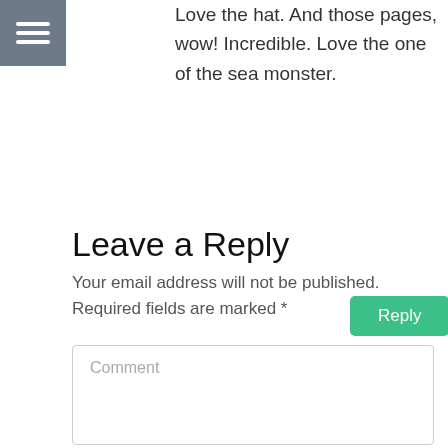[Figure (other): Hamburger menu icon — three white horizontal lines on a grey square background]
Love the hat. And those pages, wow! Incredible. Love the one of the sea monster.
Reply
Leave a Reply
Your email address will not be published. Required fields are marked *
Comment